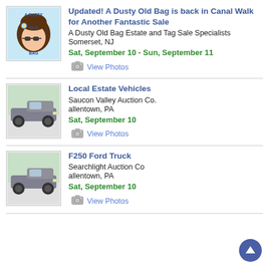[Figure (logo): A Dusty Old Bag cartoon logo with text and a woman's face with sunglasses]
Updated! A Dusty Old Bag is back in Canal Walk for Another Fantastic Sale
A Dusty Old Bag Estate and Tag Sale Specialists
Somerset, NJ
Sat, September 10 - Sun, September 11
View Photos
[Figure (photo): Photo of a grey Ford F250 truck, side view]
Local Estate Vehicles
Saucon Valley Auction Co.
allentown, PA
Sat, September 10
View Photos
[Figure (photo): Photo of a grey Ford F250 truck, side view]
F250 Ford Truck
Searchlight Auction Co
allentown, PA
Sat, September 10
View Photos